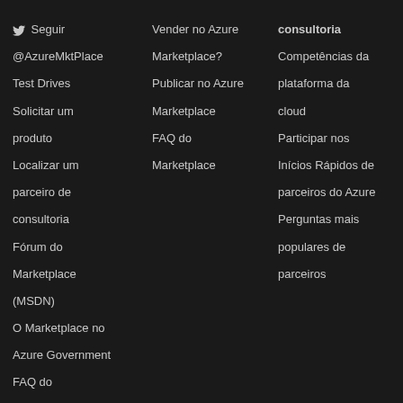🐦 Seguir @AzureMktPlace
Vender no Azure Marketplace?
consultoria Competências da plataforma da cloud Participar nos Inícios Rápidos de parceiros do Azure Perguntas mais populares de parceiros
Soluções Produtos Subscrições Documentação Preços Calculadora Portal do Microsoft Azure
Test Drives
Publicar no Azure Marketplace
Solicitar um produto
FAQ do Marketplace
Localizar um parceiro de consultoria
Fórum do Marketplace (MSDN)
O Marketplace no Azure Government
FAQ do Marketplace